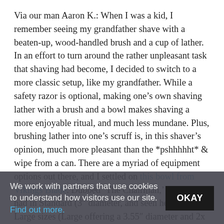Via our man Aaron K.: When I was a kid, I remember seeing my grandfather shave with a beaten-up, wood-handled brush and a cup of lather. In an effort to turn around the rather unpleasant task that shaving had become, I decided to switch to a more classic setup, like my grandfather. While a safety razor is optional, making one's own shaving lather with a brush and a bowl makes shaving a more enjoyable ritual, and much less mundane. Plus, brushing lather into one's scruff is, in this shaver's opinion, much more pleasant than the *pshhhhht* & wipe from a can. There are a myriad of equipment options out there, and I settled on this bowl from Vikings Blade. Dubbed 'The Chairman,' it can be had in Standard (3" diameter, and seen here) or Large sizes (Large offering a 3.55" diameter and 2x the the depth of the Standard). The standard isn't
We work with partners that use cookies to understand how visitors use our site. Find out more.